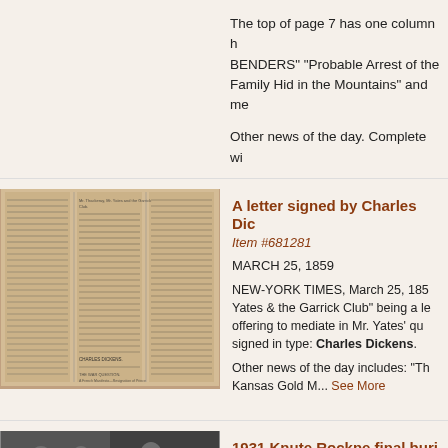The top of page 7 has one column h BENDERS" "Probable Arrest of the Family Hid in the Mountains" and me
Other news of the day. Complete wi
[Figure (photo): Scan of an old newspaper page with multiple columns of text, including article about Mr. Thackeray, Mr. Yates and the Garrick Club, featuring a letter signed by Charles Dickens]
A letter signed by Charles Dic
Item #681281
MARCH 25, 1859
NEW-YORK TIMES, March 25, 1859 Yates & the Garrick Club" being a le offering to mediate in Mr. Yates' qua signed in type: Charles Dickens.
Other news of the day includes: "Th Kansas Gold M... See More
[Figure (photo): Black and white photograph, partially visible at bottom of page]
1931 Knute Rockne final buri
Item #680549